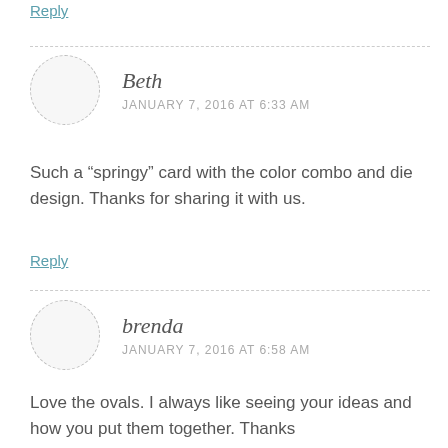Reply
Beth
JANUARY 7, 2016 AT 6:33 AM
Such a “springy” card with the color combo and die design. Thanks for sharing it with us.
Reply
brenda
JANUARY 7, 2016 AT 6:58 AM
Love the ovals. I always like seeing your ideas and how you put them together. Thanks